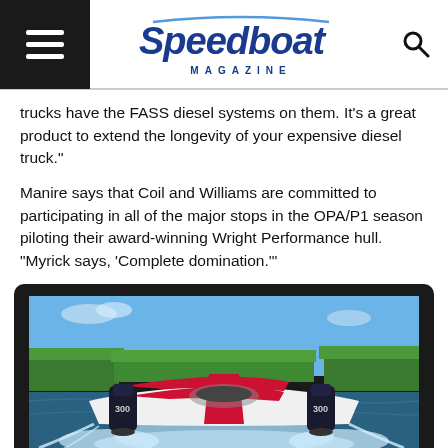Speedboat MAGAZINE
trucks have the FASS diesel systems on them. It’s a great product to extend the longevity of your expensive diesel truck.”
Manire says that Coil and Williams are committed to participating in all of the major stops in the OPA/P1 season piloting their award-winning Wright Performance hull. “Myrick says, ‘Complete domination.’”
[Figure (photo): A white and pink/red performance speedboat with two Mercury 300 outboard motors racing on a lake with green trees in the background]